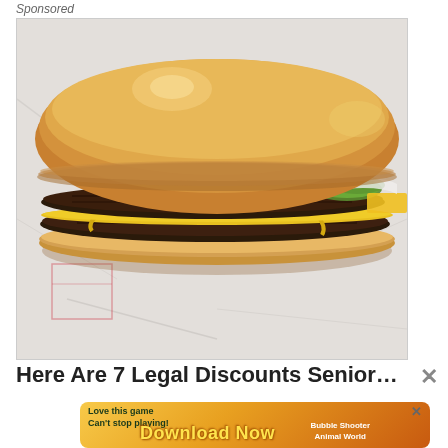Sponsored
[Figure (photo): A double cheeseburger with two beef patties, melted yellow cheese, pickles, and a toasted bun, sitting on crinkled white deli paper.]
Here Are 7 Legal Discounts Seniors Only Get When
[Figure (other): Mobile game advertisement banner: 'Love this game Can't stop playing! Download Now' with Bubble Shooter Animal World branding and colorful game icons.]